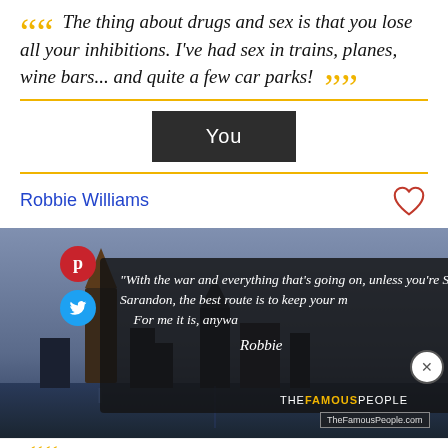The thing about drugs and sex is that you lose all your inhibitions. I've had sex in trains, planes, wine bars... and quite a few car parks!
You
Robbie Williams
[Figure (photo): Photo of a European city at dusk with a quote overlay: 'With the war and everything that's going on, unless you're Susan Sarandon, the best route is to keep your mouth shut. For me it is, anyway.' signed Robbie, with TheFamousPeople logo, Pinterest and Twitter share buttons, and a close button.]
"